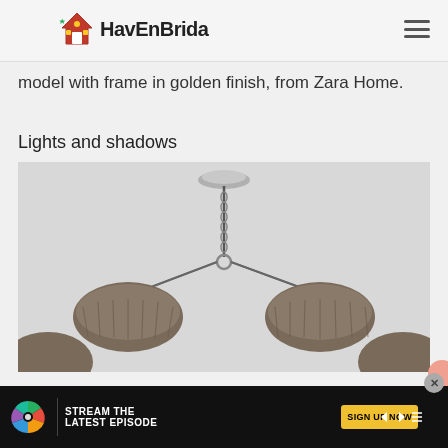HavEnBrida
model with frame in golden finish, from Zara Home.
Lights and shadows
[Figure (photo): A chandelier with dark furry/textured lampshades hanging from a metallic chain and ceiling mount, photographed against a light grey background]
Peacock — STREAM THE LATEST EPISODE — SIGN UP NOW